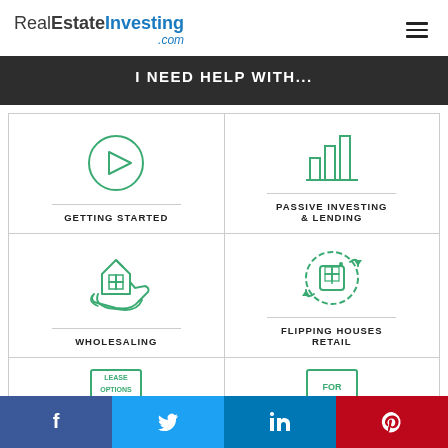RealEstateInvesting.com
I NEED HELP WITH...
[Figure (infographic): 2x3 grid of real estate investing topic icons: Getting Started (play button icon), Passive Investing & Lending (bar chart icon), Wholesaling (house on hand icon), Flipping Houses Retail (house with arrows icon), plus partial bottom row with Lease Options and FOR icons]
Social share buttons: Facebook, Twitter, LinkedIn, Pinterest